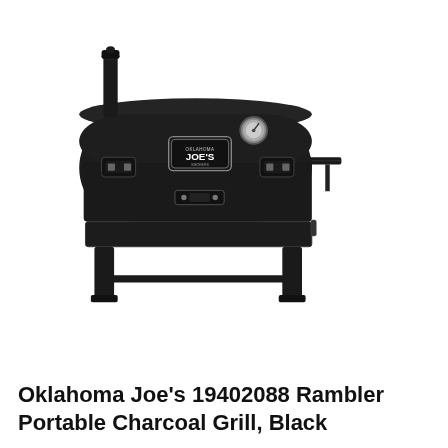[Figure (photo): Oklahoma Joe's Rambler Portable Charcoal Grill in black, shown from the front. The grill is a cylindrical barrel shape with a flat lid on top, a chimney stack on the upper left, a round thermometer gauge on the upper right, an Oklahoma Joe's branded badge/logo on the front center, two side handles, a front latch/clasp, legs at the bottom corners, and a side shelf on the right.]
Oklahoma Joe's 19402088 Rambler Portable Charcoal Grill, Black